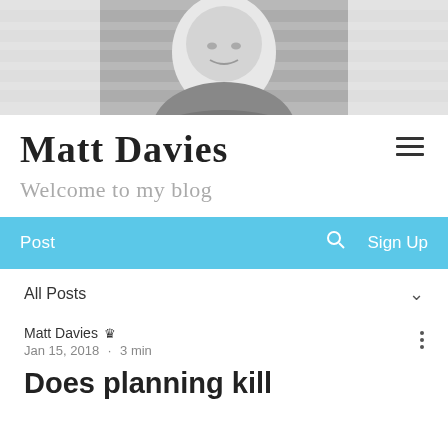[Figure (photo): Black and white portrait photo of a bald man smiling, seated outdoors near wooden slats]
Matt Davies
Welcome to my blog
Post   🔍   Sign Up
All Posts
Matt Davies  Jan 15, 2018 · 3 min
Does planning kill creativity?